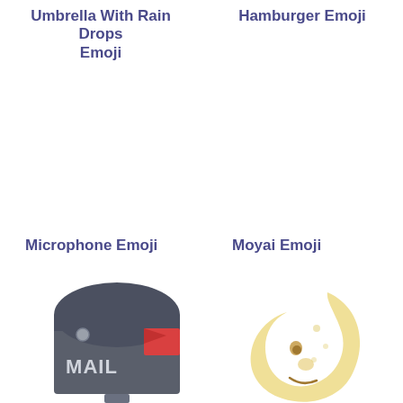Umbrella With Rain Drops Emoji
Hamburger Emoji
Microphone Emoji
Moyai Emoji
[Figure (illustration): Mailbox emoji — dark grey metal mailbox with red flag and MAIL text on front]
[Figure (illustration): Last quarter moon with face emoji — crescent moon shape in pale yellow with a smiling face]